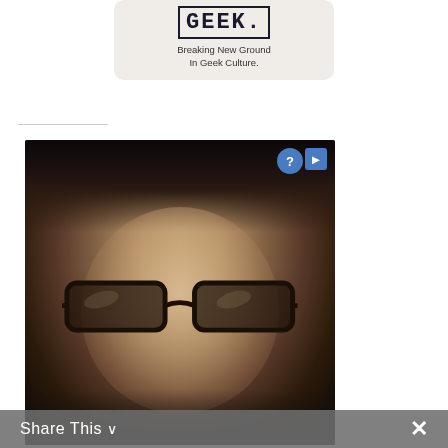[Figure (logo): GEEK logo banner with pixelated text and tagline 'Breaking New Ground In Geek Culture.']
[Figure (photo): Close-up selfie of a young woman with blonde hair, black thick-framed glasses, and a nose ring, smiling. Dark background. Small question mark and arrow overlay buttons in top-right corner.]
Share This ∨
✕